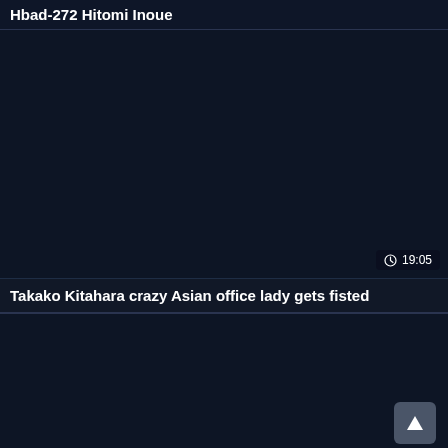Hbad-272 Hitomi Inoue
[Figure (screenshot): Dark thumbnail placeholder for a video]
19:05
Takako Kitahara crazy Asian office lady gets fisted
[Figure (screenshot): Dark thumbnail placeholder for a second video with a scroll-to-top button]